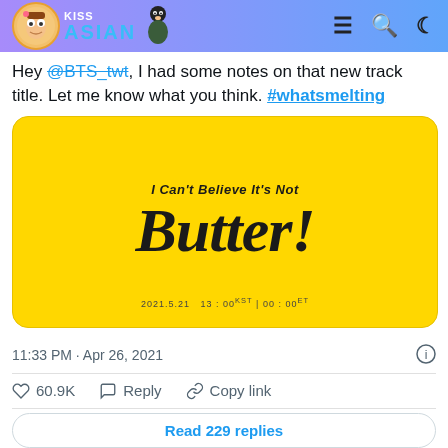KISS ASIAN
Hey @BTS_twt, I had some notes on that new track title. Let me know what you think. #whatsmelting
[Figure (photo): Yellow promotional card reading 'I Can't Believe It's Not Butter!' with date 2021.5.21 13:00KST | 00:00ET]
11:33 PM · Apr 26, 2021
60.9K  Reply  Copy link
Read 229 replies